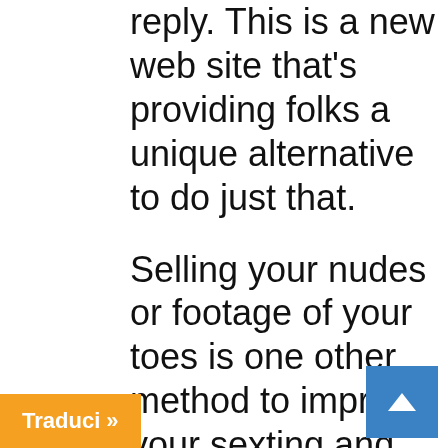reply. This is a new web site that's providing folks a unique alternative to do just that.
Selling your nudes or footage of your toes is one other method to improve your sexting and make extra cash than simply utilizing words. There are several websites that you can use to sell your content. On these websites, you'll have the flexibility